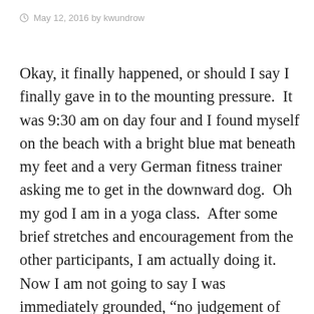May 12, 2016 by kwundrow
Okay, it finally happened, or should I say I finally gave in to the mounting pressure.  It was 9:30 am on day four and I found myself on the beach with a bright blue mat beneath my feet and a very German fitness trainer asking me to get in the downward dog.  Oh my god I am in a yoga class.  After some brief stretches and encouragement from the other participants, I am actually doing it.  Now I am not going to say I was immediately grounded, “no judgement of our bodies”, or yet at peace but I promised to respect  relaxation and here I was.  I am proud to tell you that in spite of my